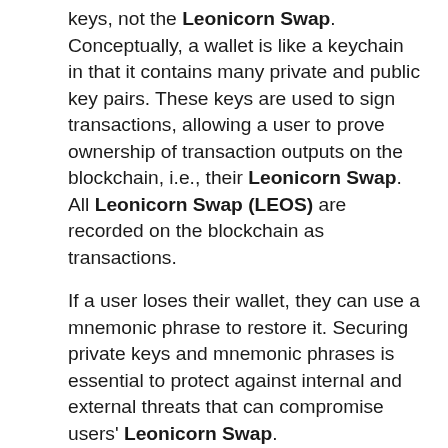keys, not the Leonicorn Swap. Conceptually, a wallet is like a keychain in that it contains many private and public key pairs. These keys are used to sign transactions, allowing a user to prove ownership of transaction outputs on the blockchain, i.e., their Leonicorn Swap. All Leonicorn Swap (LEOS) are recorded on the blockchain as transactions.
If a user loses their wallet, they can use a mnemonic phrase to restore it. Securing private keys and mnemonic phrases is essential to protect against internal and external threats that can compromise users' Leonicorn Swap.